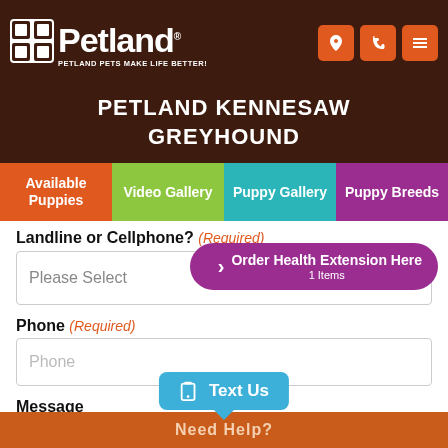Petland — PETLAND PETS MAKE LIFE BETTER!
PETLAND KENNESAW GREYHOUND
Available Puppies | Video Gallery | Puppy Gallery | Puppy Breeds
Landline or Cellphone? (Required)
Please Select
Order Health Extension Here
1 Items
Phone (Required)
Phone
Message
Text Us
Need Help?